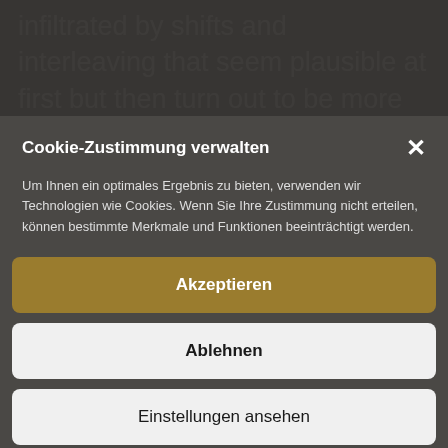infiltrated by shifts and interleaving that seem plausible at first but then turn out to be more or less contradictory. Fixed with a spacer in the middle of the
Cookie-Zustimmung verwalten
Um Ihnen ein optimales Ergebnis zu bieten, verwenden wir Technologien wie Cookies. Wenn Sie Ihre Zustimmung nicht erteilen, können bestimmte Merkmale und Funktionen beeinträchtigt werden.
Akzeptieren
Ablehnen
Einstellungen ansehen
Cookie-Richtlinie   Datenschutzerklärung   Impressum